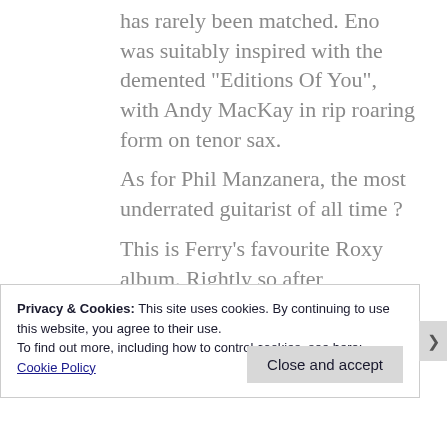has rarely been matched. Eno was suitably inspired with the demented “Editions Of You”, with Andy MacKay in rip roaring form on tenor sax.
As for Phil Manzanera, the most underrated guitarist of all time ?

This is Ferry’s favourite Roxy album. Rightly so,after “Stranded” in the
same year,Roxy became more
Privacy & Cookies: This site uses cookies. By continuing to use this website, you agree to their use.
To find out more, including how to control cookies, see here: Cookie Policy
Close and accept